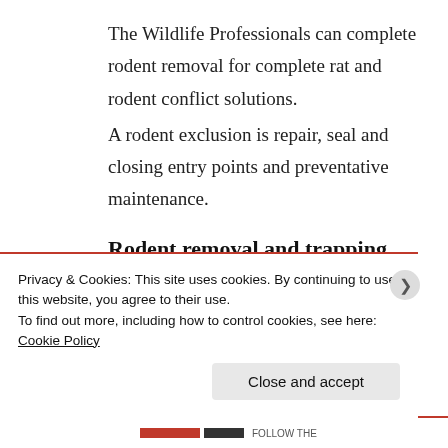The Wildlife Professionals can complete rodent removal for complete rat and rodent conflict solutions.
A rodent exclusion is repair, seal and closing entry points and preventative maintenance.
Rodent removal and trapping
Privacy & Cookies: This site uses cookies. By continuing to use this website, you agree to their use.
To find out more, including how to control cookies, see here: Cookie Policy
Close and accept